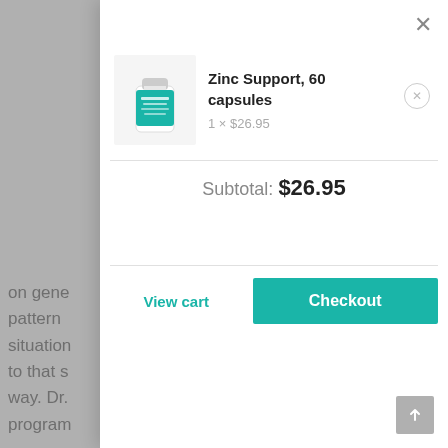[Figure (screenshot): Shopping cart modal overlay on a website. Shows a product 'Zinc Support, 60 capsules' at 1 × $26.95, subtotal of $26.95, with 'View cart' and 'Checkout' buttons. A close X is in the top right. The left portion shows a grey background with partially visible webpage text.]
Zinc Support, 60 capsules
1 × $26.95
Subtotal: $26.95
View cart
Checkout
on gene
pattern
situation
to that s
way. Dr.
program